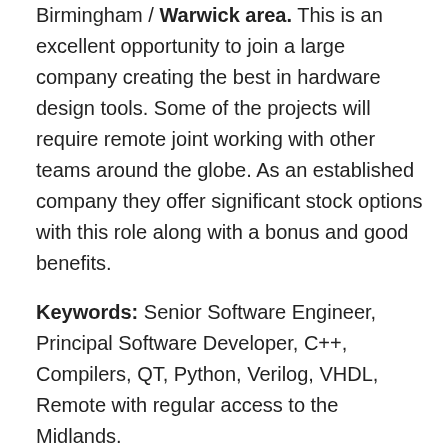Birmingham / Warwick area. This is an excellent opportunity to join a large company creating the best in hardware design tools. Some of the projects will require remote joint working with other teams around the globe. As an established company they offer significant stock options with this role along with a bonus and good benefits.
Keywords: Senior Software Engineer, Principal Software Developer, C++, Compilers, QT, Python, Verilog, VHDL, Remote with regular access to the Midlands.
Please note: even if you don't have exactly the background indicated, do contact us now if this type of job is of interest - we may well have similar opportunities that you would be suited to. And of course, we always get your permission before